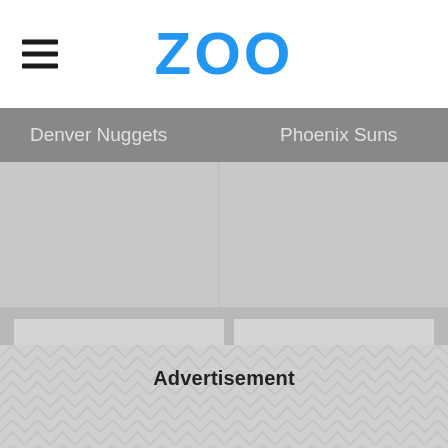ZOO
Denver Nuggets
Phoenix Suns
Houston Rockets
Sacramento Kings
Advertisement